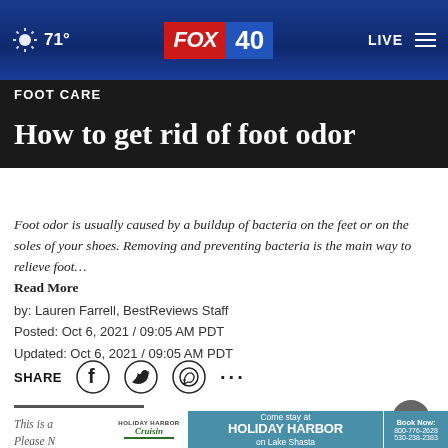FOX 40 | 71° | LIVE
FOOT CARE
How to get rid of foot odor
Foot odor is usually caused by a buildup of bacteria on the feet or on the soles of your shoes. Removing and preventing bacteria is the main way to relieve foot… Read More
by: Lauren Farrell, BestReviews Staff
Posted: Oct 6, 2021 / 09:05 AM PDT
Updated: Oct 6, 2021 / 09:05 AM PDT
[Figure (other): Social share icons: Facebook, Twitter, WhatsApp, and more options (...)]
[Figure (other): Holiday Harbor advertisement banner: Come stay at HOLIDAY HARBOR on Lake Shasta. Book Now: 800-776-2628, 530-238-2383]